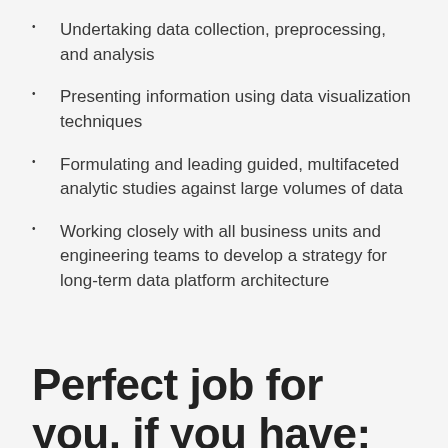Undertaking data collection, preprocessing, and analysis
Presenting information using data visualization techniques
Formulating and leading guided, multifaceted analytic studies against large volumes of data
Working closely with all business units and engineering teams to develop a strategy for long-term data platform architecture
Perfect job for you, if you have: